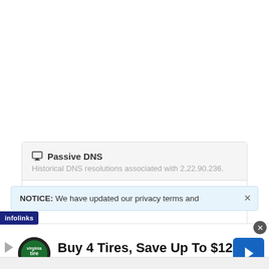Passive DNS
Historical DNS resolutions associated with 2.22.90.236.
No results found.
NOTICE: We have updated our privacy terms and
[Figure (screenshot): Advertisement banner: Buy 4 Tires, Save Up To $120 — Virginia Tire & Auto of Ashburn Fa...]
infolinks